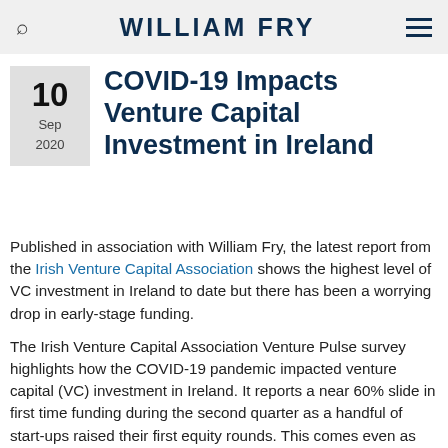WILLIAM FRY
COVID-19 Impacts Venture Capital Investment in Ireland
10 Sep 2020
Published in association with William Fry, the latest report from the Irish Venture Capital Association shows the highest level of VC investment in Ireland to date but there has been a worrying drop in early-stage funding.
The Irish Venture Capital Association Venture Pulse survey highlights how the COVID-19 pandemic impacted venture capital (VC) investment in Ireland. It reports a near 60% slide in first time funding during the second quarter as a handful of start-ups raised their first equity rounds. This comes even as funding overall rose almost 60% to